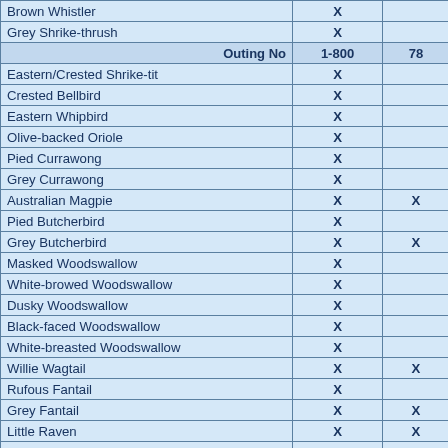|  | 1-800 | 78 |
| --- | --- | --- |
| Brown Whistler | X |  |
| Grey Shrike-thrush | X |  |
| Outing No | 1-800 | 78 |
| Eastern/Crested Shrike-tit | X |  |
| Crested Bellbird | X |  |
| Eastern Whipbird | X |  |
| Olive-backed Oriole | X |  |
| Pied Currawong | X |  |
| Grey Currawong | X |  |
| Australian Magpie | X | X |
| Pied Butcherbird | X |  |
| Grey Butcherbird | X | X |
| Masked Woodswallow | X |  |
| White-browed Woodswallow | X |  |
| Dusky Woodswallow | X |  |
| Black-faced Woodswallow | X |  |
| White-breasted Woodswallow | X |  |
| Willie Wagtail | X | X |
| Rufous Fantail | X |  |
| Grey Fantail | X | X |
| Little Raven | X | X |
| Forest Raven | X |  |
| Australian Raven | X |  |